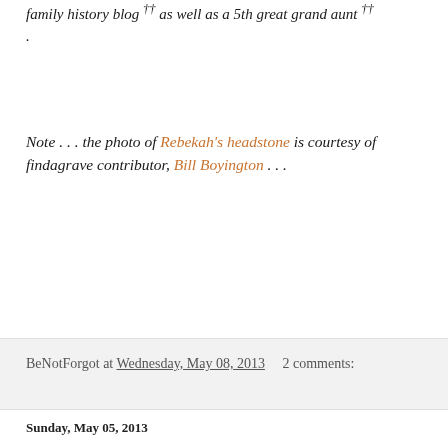family history blog †† as well as a 5th great grand aunt †† .
Note . . . the photo of Rebekah's headstone is courtesy of findagrave contributor, Bill Boyington . . .
BeNotForgot at Wednesday, May 08, 2013   2 comments:
Sunday, May 05, 2013
1572 :: Burial of John Pyne
On this date in our family history . . . the 5th day of May . . . in the year 1572 . . . John Pine / Pyne is laid to rest at East Downe in the Barnstaple district of